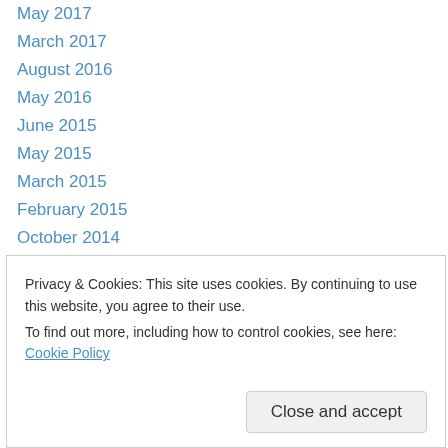May 2017
March 2017
August 2016
May 2016
June 2015
May 2015
March 2015
February 2015
October 2014
September 2014
August 2014
July 2014
June 2014
May 2014
March 2012
Privacy & Cookies: This site uses cookies. By continuing to use this website, you agree to their use.
To find out more, including how to control cookies, see here: Cookie Policy